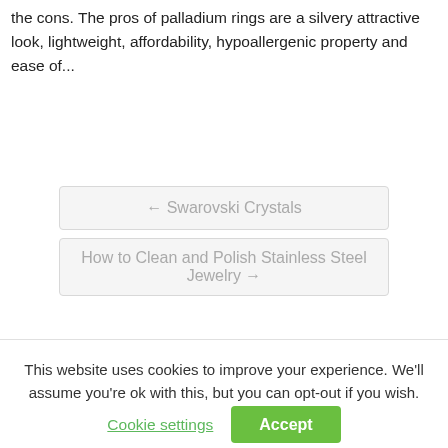the cons. The pros of palladium rings are a silvery attractive look, lightweight, affordability, hypoallergenic property and ease of...
← Swarovski Crystals
How to Clean and Polish Stainless Steel Jewelry →
This website uses cookies to improve your experience. We'll assume you're ok with this, but you can opt-out if you wish.
Cookie settings
Accept